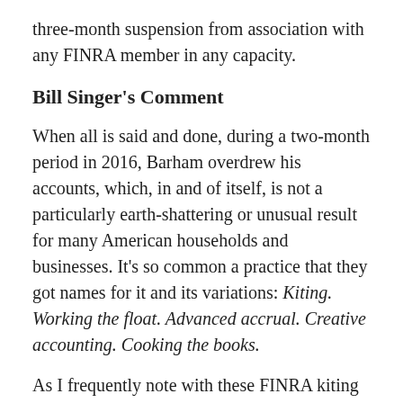three-month suspension from association with any FINRA member in any capacity.
Bill Singer's Comment
When all is said and done, during a two-month period in 2016, Barham overdrew his accounts, which, in and of itself, is not a particularly earth-shattering or unusual result for many American households and businesses. It's so common a practice that they got names for it and its variations: Kiting. Working the float. Advanced accrual. Creative accounting. Cooking the books.
As I frequently note with these FINRA kiting cases, I have no problem whatsoever if the